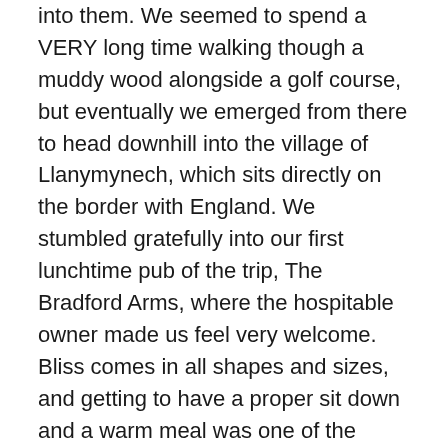into them. We seemed to spend a VERY long time walking though a muddy wood alongside a golf course, but eventually we emerged from there to head downhill into the village of Llanymynech, which sits directly on the border with England. We stumbled gratefully into our first lunchtime pub of the trip, The Bradford Arms, where the hospitable owner made us feel very welcome. Bliss comes in all shapes and sizes, and getting to have a proper sit down and a warm meal was one of the forms it takes!
The section immediately after the pub, along the Montgomery Canal, was unexpectedly lovely. The canal itself hasn't been in use since the end of World War II, and the riot of vegetation that surrounds it is quite beautiful. There was an absurdly picturesque cottage alongside some disused lock gates and, a little further along, even a swan nesting in the river, in the path of a tree that had